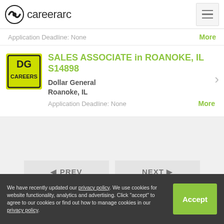careerarc
Application Deadline: None
SALES ASSOCIATE in ROANOKE, IL S14898
Dollar General
Roanoke, IL
Application Deadline: None
◄ PREV
NEXT ►
We have recently updated our privacy policy. We use cookies for website functionality, analytics and advertising. Click "accept" to agree to our cookies or find out how to manage cookies in our privacy policy.
Accept